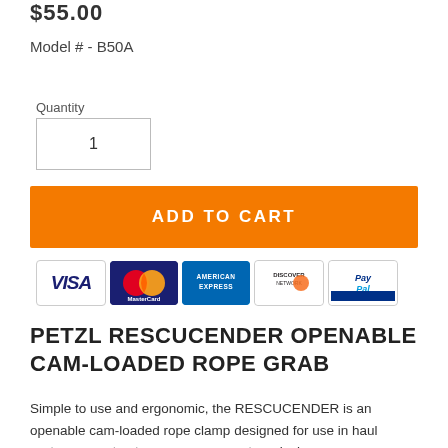$55.00
Model # - B50A
Quantity
1
ADD TO CART
[Figure (logo): Payment method icons: VISA, MasterCard, American Express, Discover Network, PayPal]
PETZL RESCUCENDER OPENABLE CAM-LOADED ROPE GRAB
Simple to use and ergonomic, the RESCUCENDER is an openable cam-loaded rope clamp designed for use in haul systems as a tractor or progress capture device.